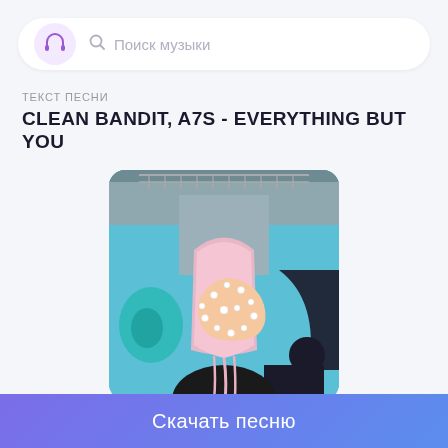[Figure (screenshot): Music app header bar with purple headphone icon and search field labeled Поиск музыки]
ТЕКСТ ПЕСНИ
CLEAN BANDIT, A7S - EVERYTHING BUT YOU
[Figure (photo): Album cover showing a person with pink hair covering their face with a bejeweled glove, against a teal/concrete background]
Скачать песню